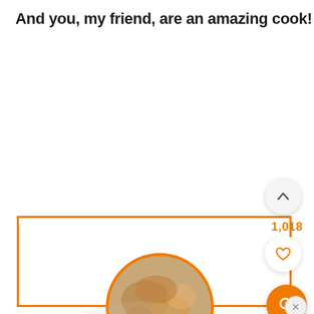And you, my friend, are an amazing cook!
[Figure (screenshot): App UI screenshot showing an orange rectangular selection box overlaid on a white area, with a food image (roasted chicken or similar dish) partially visible at the bottom inside a circular orange-bordered frame. UI buttons visible on the right side: an up-arrow button (light grey circle), a like count '1,018' in orange, a heart/like button (white circle), an orange search button (orange circle with magnifying glass icon), and a close button (grey circle with X).]